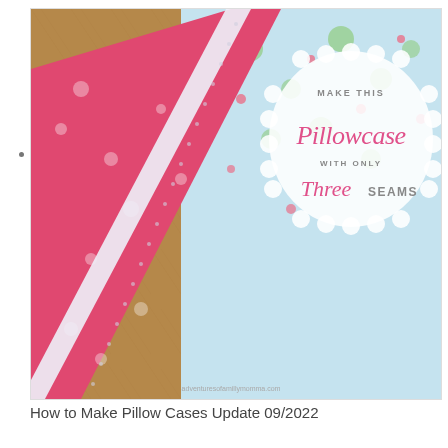[Figure (photo): A photo of a colorful pillowcase made from pink floral fabric and light blue frog-print fabric, with a white lace trim strip, laid on a wood floor. Overlaid text reads: MAKE THIS Pillowcase WITH ONLY Three SEAMS. adventuresofamillymomma.com]
How to Make Pillow Cases Update 09/2022